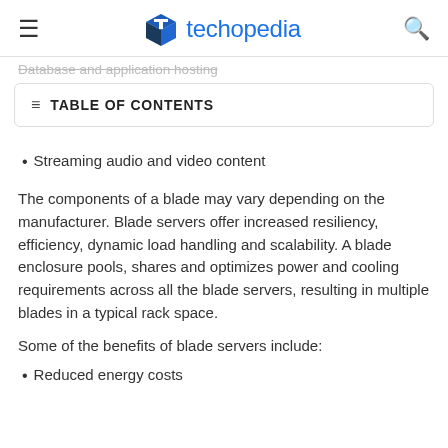techopedia
Database and application hosting
TABLE OF CONTENTS
Streaming audio and video content
The components of a blade may vary depending on the manufacturer. Blade servers offer increased resiliency, efficiency, dynamic load handling and scalability. A blade enclosure pools, shares and optimizes power and cooling requirements across all the blade servers, resulting in multiple blades in a typical rack space.
Some of the benefits of blade servers include:
Reduced energy costs